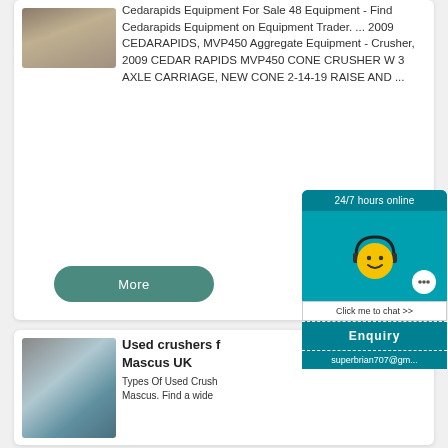[Figure (photo): Thumbnail photo of Cedarapids equipment/machinery]
Cedarapids Equipment For Sale 48 Equipment - Find Cedarapids Equipment on Equipment Trader. ... 2009 CEDARAPIDS, MVP450 Aggregate Equipment - Crusher, 2009 CEDAR RAPIDS MVP450 CONE CRUSHER W 3 AXLE CARRIAGE, NEW CONE 2-14-19 RAISE AND ...
More
[Figure (photo): Thumbnail photo of used crushers/quarry equipment]
Used crushers for Mascus UK
Types Of Used Crushers on Mascus. Find a wide
[Figure (infographic): Live chat widget showing '24/7 hours online', smiley face with headset, 'Click me to chat >>' button, 'Enquiry' section, and email superbrian707@gm...]